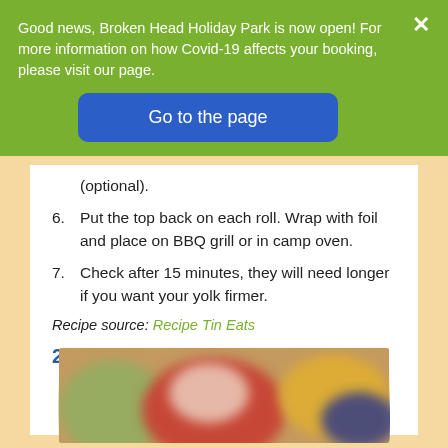Good news, Broken Head Holiday Park is now open! For more information on how Covid-19 affects your booking, please visit our page.
6. Put the top back on each roll. Wrap with foil and place on BBQ grill or in camp oven.
7. Check after 15 minutes, they will need longer if you want your yolk firmer.
Recipe source: Recipe Tin Eats
2. Walking Tacos
[Figure (photo): Blurred close-up photo of colorful bowls/cups with food ingredients for walking tacos]